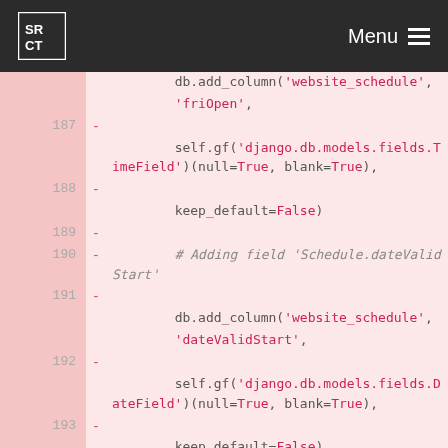SRCT | Menu
Code diff showing lines 187-195 of a Django database migration file with db.add_column calls for website_schedule table, adding friOpen (TimeField) and dateValidStart (DateField) columns with null=True, blank=True, keep_default=False